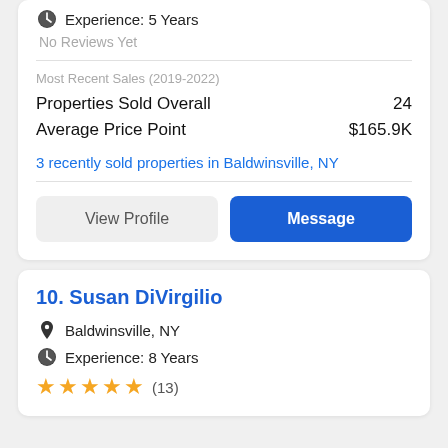Experience: 5 Years
No Reviews Yet
Most Recent Sales (2019-2022)
Properties Sold Overall  24
Average Price Point  $165.9K
3 recently sold properties in Baldwinsville, NY
View Profile
Message
10. Susan DiVirgilio
Baldwinsville, NY
Experience: 8 Years
★★★★★ (13)